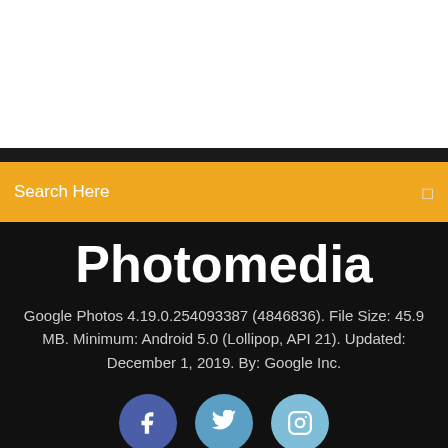[Figure (screenshot): White section at top of the page, representing a blank area above a dark navigation bar]
Search Here
Photomedia
Google Photos 4.19.0.254093387 (4846836). File Size: 45.9 MB. Minimum: Android 5.0 (Lollipop, API 21). Updated: December 1, 2019. By: Google Inc.
[Figure (illustration): Three social media icons: Facebook (blue circle with f), Twitter (medium blue circle with bird), Instagram (light blue circle with camera icon)]